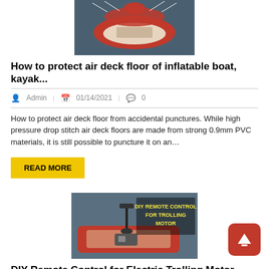[Figure (photo): Red inflatable boat on water, top-down view]
How to protect air deck floor of inflatable boat, kayak...
Admin  01/14/2021  0
How to protect air deck floor from accidental punctures. While high pressure drop stitch air deck floors are made from strong 0.9mm PVC materials, it is still possible to puncture it on an...
READ MORE
[Figure (photo): Red inflatable boat with trolling motor and text overlay: DIY REMOTE CONTROL FOR TROLLING MOTOR]
DIY Remote Control for Electric Trolling Motor